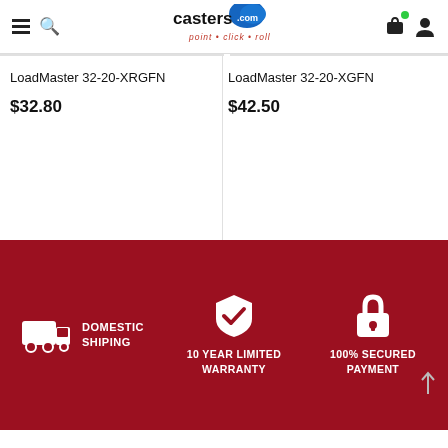casters.com — point • click • roll
LoadMaster 32-20-XRGFN — $32.80
LoadMaster 32-20-XGFN — $42.50
[Figure (infographic): Red promotional banner with three icons and text: truck icon with DOMESTIC SHIPING, shield-checkmark icon with 10 YEAR LIMITED WARRANTY, padlock icon with 100% SECURED PAYMENT]